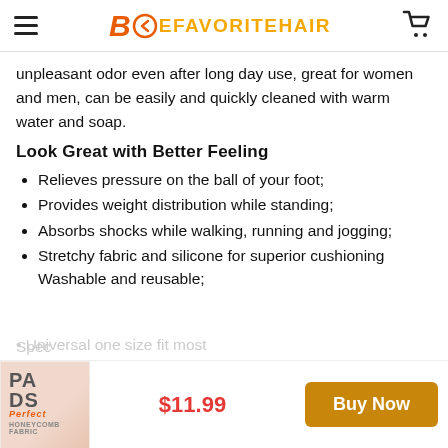BEFAVORITEHAIR
unpleasant odor even after long day use, great for women and men, can be easily and quickly cleaned with warm water and soap.
Look Great with Better Feeling
Relieves pressure on the ball of your foot;
Provides weight distribution while standing;
Absorbs shocks while walking, running and jogging;
Stretchy fabric and silicone for superior cushioning Washable and reusable;
• Universal one size fit most
$11.99
Buy Now